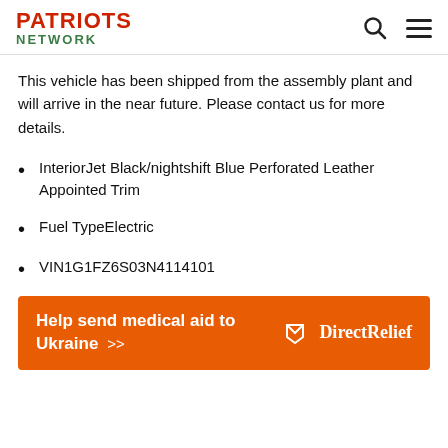PATRIOTS NETWORK
This vehicle has been shipped from the assembly plant and will arrive in the near future. Please contact us for more details.
InteriorJet Black/nightshift Blue Perforated Leather Appointed Trim
Fuel TypeElectric
VIN1G1FZ6S03N4114101
[Figure (infographic): Orange advertisement banner reading 'Help send medical aid to Ukraine >>' with Direct Relief logo on the right.]